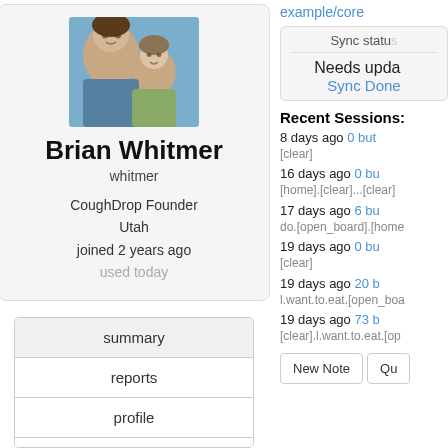[Figure (photo): Profile photo of Brian Whitmer with a child]
Brian Whitmer
whitmer
CoughDrop Founder
Utah
joined 2 years ago
used today
summary
reports
profile
preferences
subscription
logs & messages
example/core
Sync status
Needs update
Sync Done
Recent Sessions:
8 days ago 0 but
[clear]
16 days ago 0 bu
[home].[clear]...[clear]
17 days ago 6 bu
do.[open_board].[home
19 days ago 0 bu
[clear]
19 days ago 20 b
l.want.to.eat.[open_boa
19 days ago 73 b
[clear].l.want.to.eat.[op
New Note   Qu